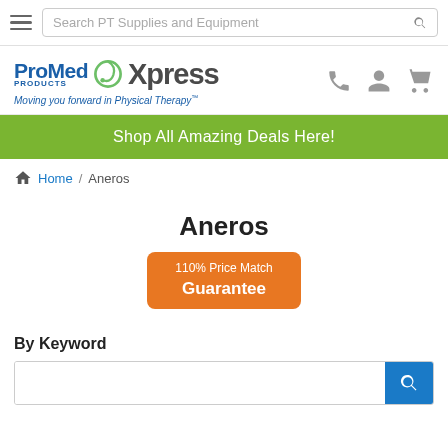[Figure (screenshot): Top navigation bar with hamburger menu and search box reading 'Search PT Supplies and Equipment']
[Figure (logo): ProMed Products Xpress logo with tagline 'Moving you forward in Physical Therapy' and phone/account/cart icons]
Shop All Amazing Deals Here!
Home / Aneros
Aneros
[Figure (infographic): Orange button badge reading '110% Price Match Guarantee']
By Keyword